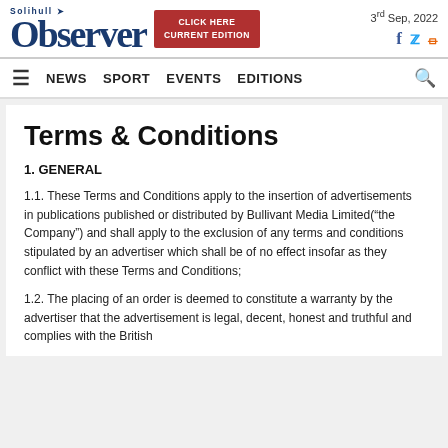Solihull Observer — CLICK HERE CURRENT EDITION — 3rd Sep, 2022
NEWS  SPORT  EVENTS  EDITIONS
Terms & Conditions
1. GENERAL
1.1. These Terms and Conditions apply to the insertion of advertisements in publications published or distributed by Bullivant Media Limited(“the Company”) and shall apply to the exclusion of any terms and conditions stipulated by an advertiser which shall be of no effect insofar as they conflict with these Terms and Conditions;
1.2. The placing of an order is deemed to constitute a warranty by the advertiser that the advertisement is legal, decent, honest and truthful and complies with the British